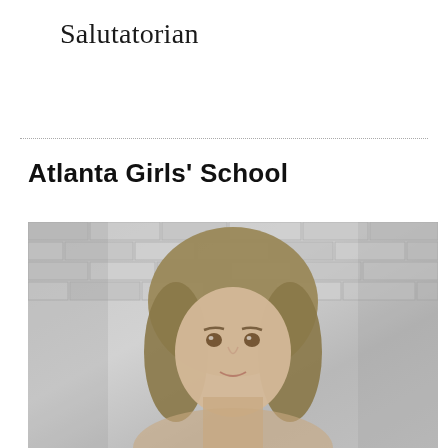Salutatorian
Atlanta Girls' School
[Figure (photo): Black and white portrait photo of a young woman with shoulder-length blonde hair, brown eyes, smiling slightly, against a brick wall background.]